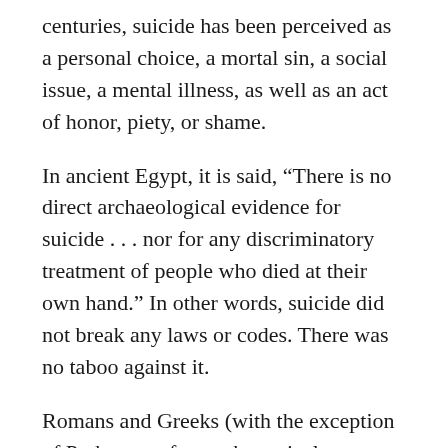centuries, suicide has been perceived as a personal choice, a mortal sin, a social issue, a mental illness, as well as an act of honor, piety, or shame.
In ancient Egypt, it is said, “There is no direct archaeological evidence for suicide . . . nor for any discriminatory treatment of people who died at their own hand.” In other words, suicide did not break any laws or codes. There was no taboo against it.
Romans and Greeks (with the exception of Pythagoras for mathematical reasons, and Aristotle due to his belief in a finite number of souls and the consequences of same) were not troubled about suicide. Roman and Japanese